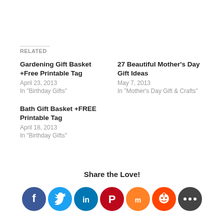Related
Gardening Gift Basket +Free Printable Tag
April 23, 2013
In "Birthday Gifts"
27 Beautiful Mother's Day Gift Ideas
May 7, 2013
In "Mother's Day Gift & Crafts"
Bath Gift Basket +FREE Printable Tag
April 18, 2013
In "Birthday Gifts"
Share the Love!
[Figure (infographic): Social sharing icons: Facebook (dark blue), Twitter (blue), LinkedIn (teal), Pinterest (dark red), Mix (orange), Reddit (orange-red), More/Share (dark gray)]